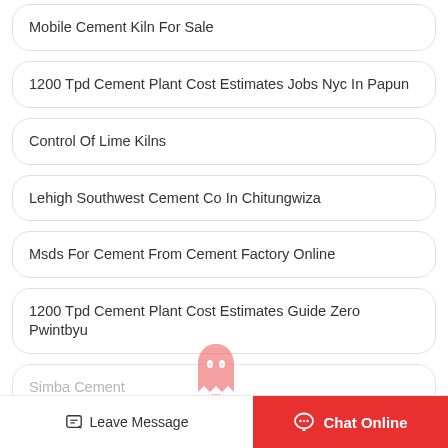Mobile Cement Kiln For Sale
1200 Tpd Cement Plant Cost Estimates Jobs Nyc In Papun
Control Of Lime Kilns
Lehigh Southwest Cement Co In Chitungwiza
Msds For Cement From Cement Factory Online
1200 Tpd Cement Plant Cost Estimates Guide Zero Pwintbyu
Simba Cement
Leave Message
Chat Online